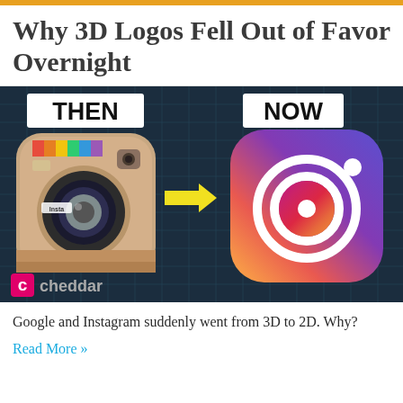Why 3D Logos Fell Out of Favor Overnight
[Figure (infographic): Infographic showing Instagram logo redesign: old 3D camera-style icon labeled THEN with an arrow pointing to the new flat gradient icon labeled NOW. Cheddar logo at bottom left.]
Google and Instagram suddenly went from 3D to 2D. Why?
Read More »